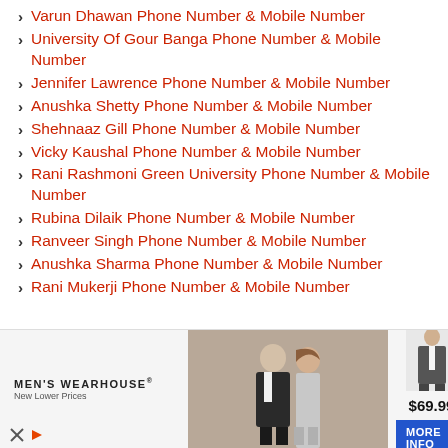Varun Dhawan Phone Number & Mobile Number
University Of Gour Banga Phone Number & Mobile Number
Jennifer Lawrence Phone Number & Mobile Number
Anushka Shetty Phone Number & Mobile Number
Shehnaaz Gill Phone Number & Mobile Number
Vicky Kaushal Phone Number & Mobile Number
Rani Rashmoni Green University Phone Number & Mobile Number
Rubina Dilaik Phone Number & Mobile Number
Ranveer Singh Phone Number & Mobile Number
Anushka Sharma Phone Number & Mobile Number
Rani Mukerji Phone Number & Mobile Number
[Figure (screenshot): Advertisement banner for Men's Wearhouse showing a couple dressed formally and a suit priced at $69.99 with a MORE INFO button]